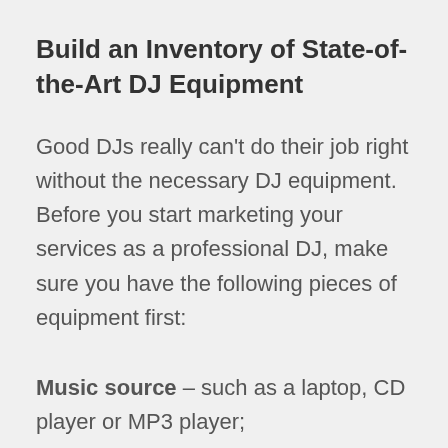Build an Inventory of State-of-the-Art DJ Equipment
Good DJs really can't do their job right without the necessary DJ equipment. Before you start marketing your services as a professional DJ, make sure you have the following pieces of equipment first:
Music source – such as a laptop, CD player or MP3 player;